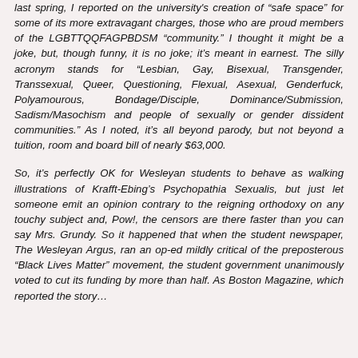last spring, I reported on the university's creation of "safe space" for some of its more extravagant charges, those who are proud members of the LGBTTQQFAGPBDSM "community." I thought it might be a joke, but, though funny, it is no joke; it's meant in earnest. The silly acronym stands for "Lesbian, Gay, Bisexual, Transgender, Transsexual, Queer, Questioning, Flexual, Asexual, Genderfuck, Polyamourous, Bondage/Disciple, Dominance/Submission, Sadism/Masochism and people of sexually or gender dissident communities." As I noted, it's all beyond parody, but not beyond a tuition, room and board bill of nearly $63,000.
So, it's perfectly OK for Wesleyan students to behave as walking illustrations of Krafft-Ebing's Psychopathia Sexualis, but just let someone emit an opinion contrary to the reigning orthodoxy on any touchy subject and, Pow!, the censors are there faster than you can say Mrs. Grundy. So it happened that when the student newspaper, The Wesleyan Argus, ran an op-ed mildly critical of the preposterous "Black Lives Matter" movement, the student government unanimously voted to cut its funding by more than half. As Boston Magazine, which reported the story...